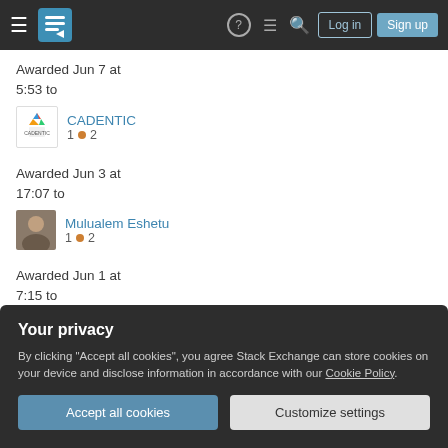Stack Exchange navigation bar with hamburger menu, logo, help, chat, search icons, Log in and Sign up buttons
Awarded Jun 7 at 5:53 to
CADENTIC
1 • 2
Awarded Jun 3 at 17:07 to
Mulualem Eshetu
1 • 2
Awarded Jun 1 at 7:15 to
epodegrid
Your privacy
By clicking "Accept all cookies", you agree Stack Exchange can store cookies on your device and disclose information in accordance with our Cookie Policy.
Accept all cookies
Customize settings